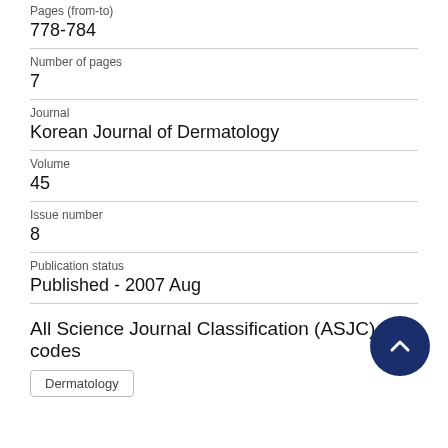Pages (from-to)
778-784
Number of pages
7
Journal
Korean Journal of Dermatology
Volume
45
Issue number
8
Publication status
Published - 2007 Aug
All Science Journal Classification (ASJC) codes
Dermatology